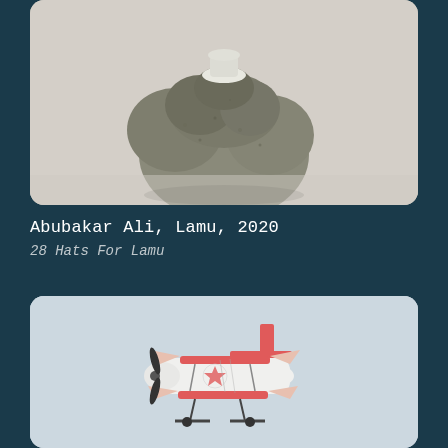[Figure (photo): A rough, grey textured rock or coral-like sculptural object sitting on a light surface, with a small white fabric or paper hat placed on top of it.]
Abubakar Ali, Lamu, 2020
28 Hats For Lamu
[Figure (photo): A model or toy biplane painted white and red with a star emblem, photographed against a pale blue-grey sky background.]